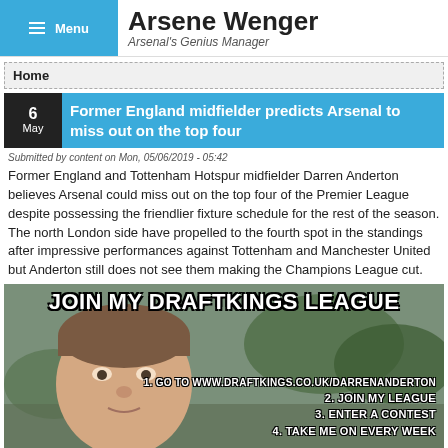Arsene Wenger — Arsenal's Genius Manager
Home
Former England midfielder predicts Arsenal to miss out on the top four
Submitted by content on Mon, 05/06/2019 - 05:42
Former England and Tottenham Hotspur midfielder Darren Anderton believes Arsenal could miss out on the top four of the Premier League despite possessing the friendlier fixture schedule for the rest of the season. The north London side have propelled to the fourth spot in the standings after impressive performances against Tottenham and Manchester United but Anderton still does not see them making the Champions League cut.
[Figure (photo): Promotional image showing Darren Anderton with text: JOIN MY DRAFTKINGS LEAGUE. 1. GO TO WWW.DRAFTKINGS.CO.UK/DARRENANDERTON. 2. JOIN MY LEAGUE. 3. ENTER A CONTEST. 4. TAKE ME ON EVERY WEEK]